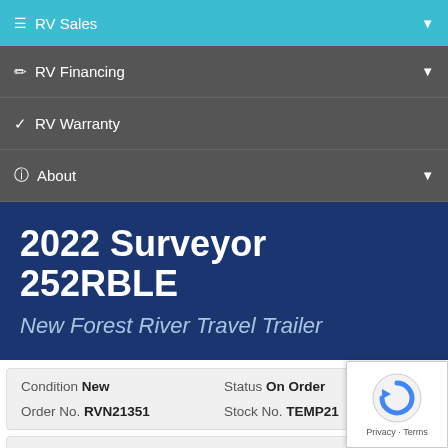RV Sales
RV Financing
RV Warranty
About
2022 Surveyor 252RBLE
New Forest River Travel Trailer
| Condition | Status |
| --- | --- |
| New | On Order |
| RVN21351 | TEMP21 |
[Figure (other): reCAPTCHA widget overlay with icon and Privacy/Terms links]